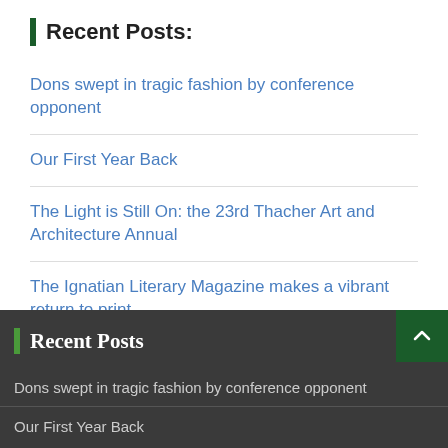Recent Posts:
Dons swept in tragic fashion by conference opponent
Our First Year Back
The Light is Still On: the 23rd Thacher Art and Architecture Annual
The Ignatian Literary Magazine makes a vibrant return to print.
Thank you, Foghorn.
Recent Posts
Dons swept in tragic fashion by conference opponent
Our First Year Back